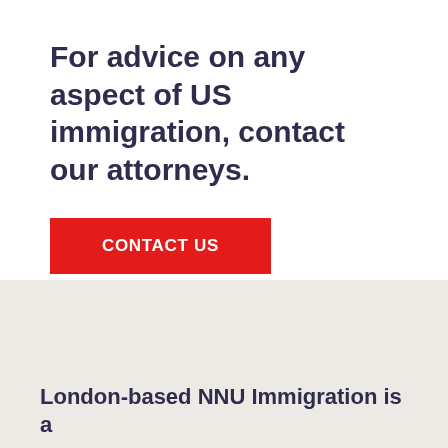For advice on any aspect of US immigration, contact our attorneys.
CONTACT US
London-based NNU Immigration is a